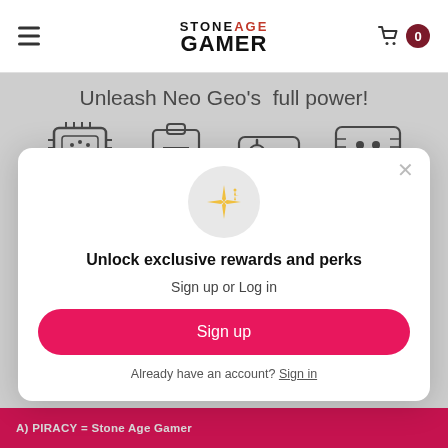Stone Age Gamer
Unleash Neo Geo's full power!
[Figure (illustration): Icons showing: microchip + checklist + arcade joystick = happy console face]
[Figure (infographic): Modal popup with sparkle icon, headline 'Unlock exclusive rewards and perks', Sign up or Log in subtext, Sign up button, Already have an account? Sign in link]
Unlock exclusive rewards and perks
Sign up or Log in
Sign up
Already have an account? Sign in
A) PIRACY = Stone Age Gamer